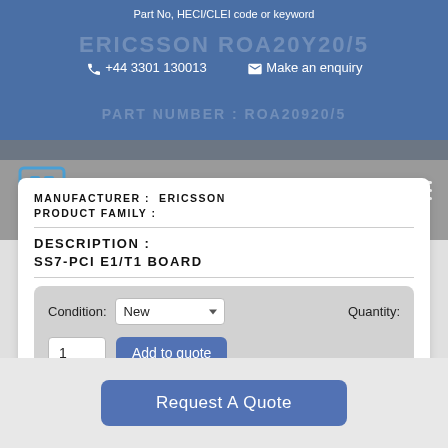Part No, HECI/CLEI code or keyword
ERICSSON ROA20Y20/5
+44 3301 130013   Make an enquiry
PART NUMBER: ROA20920/5
MANUFACTURER: ERICSSON
PRODUCT FAMILY:
telecomms traders
DESCRIPTION:
SS7-PCI E1/T1 BOARD
Condition: New   Quantity:
1
Add to quote
Request A Quote